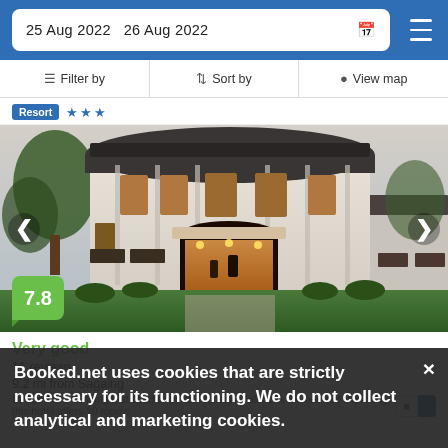25 Aug 2022  26 Aug 2022
Filter by  Sort by  View map
Resort ★★★
[Figure (photo): Two-story white colonial-style hotel building with dark roof, lit entrance archway, flanked by trees and garden landscaping, photographed at dusk]
7.8
Very good
11 reviews
9.2 mi from Sagaing
Booked.net uses cookies that are strictly necessary for its functioning. We do not collect analytical and marketing cookies.